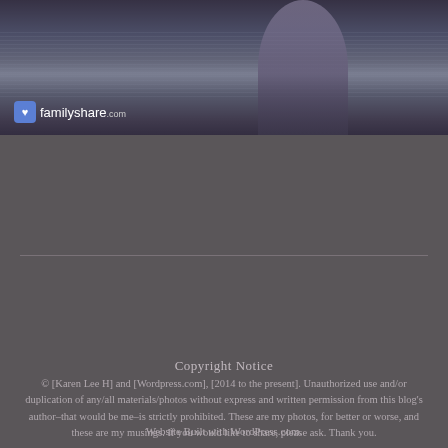[Figure (photo): Top banner image showing a person standing by the sea with a blue-purple toned filter, with a familyshare.com logo badge in the lower left]
[Figure (illustration): Circular camera icon on a grey background]
Copyright Notice
© [Karen Lee H] and [Wordpress.com], [2014 to the present]. Unauthorized use and/or duplication of any/all materials/photos without express and written permission from this blog's author–that would be me–is strictly prohibited. These are my photos, for better or worse, and these are my musings. If you would like to share, please ask. Thank you.
Website Built with WordPress.com.